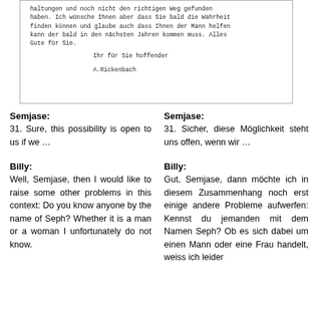[Figure (other): Handwritten letter excerpt in German cursive script, signed 'Ihr für Sie hoffender' and 'A. Rickenbach', inside a bordered box. Text reads: 'haltungen und noch nicht den richtigen Weg gefunden haben. Ich wünsche Ihnen aber dass Sie bald die Wahrheit finden können und glaube auch dass Ihnen der Mann helfen kann der bald in den nächsten Jahren kommen muss. Alles Gute für Sie.']
Semjase:
31. Sure, this possibility is open to us if we …
Semjase:
31. Sicher, diese Möglichkeit steht uns offen, wenn wir …
Billy:
Well, Semjase, then I would like to raise some other problems in this context: Do you know anyone by the name of Seph? Whether it is a man or a woman I unfortunately do not know.
Billy:
Gut, Semjase, dann möchte ich in diesem Zusammenhang noch erst einige andere Probleme aufwerfen: Kennst du jemanden mit dem Namen Seph? Ob es sich dabei um einen Mann oder eine Frau handelt, weiss ich leider